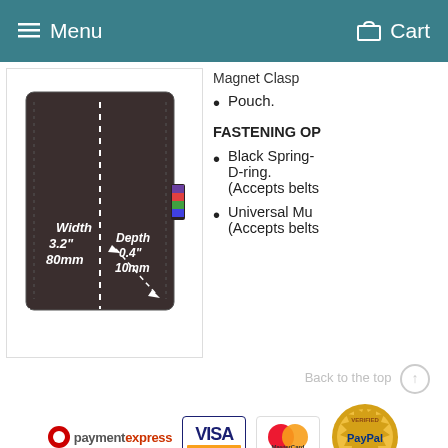Menu  Cart
[Figure (photo): Dark brown leather pouch/case with white dashed lines showing dimensions: Width 3.2" 80mm and Depth 0.4" 10mm, with a small colorful logo tag on the side]
Magnet Clasp
Pouch.
FASTENING OP
Black Spring- D-ring. (Accepts belts
Universal Mu (Accepts belts
Back to the top
[Figure (logo): Payment Express logo with red circle, paymentexpress text, VISA card logo, MasterCard logo, and PayPal Verified seal]